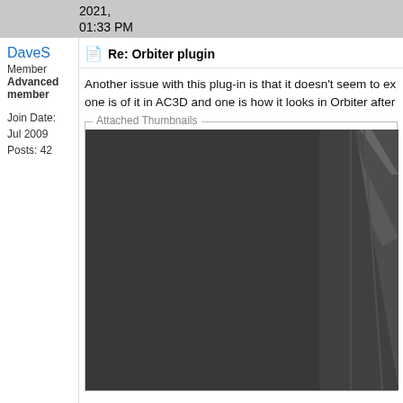2021, 01:33 PM
DaveS
Member
Advanced member

Join Date: Jul 2009
Posts: 42
Re: Orbiter plugin
Another issue with this plug-in is that it doesn't seem to ex one is of it in AC3D and one is how it looks in Orbiter after
Attached Thumbnails
[Figure (photo): Dark thumbnail image showing geometric surfaces or panels, partially visible, cut off at right edge of page]